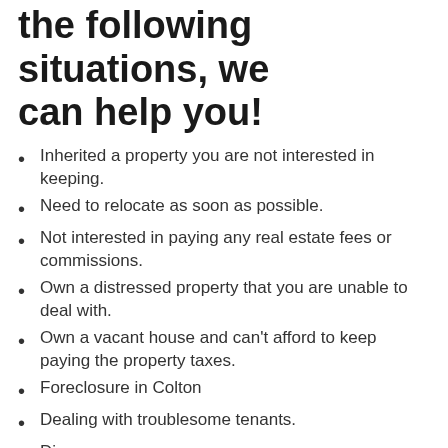the following situations, we can help you!
Inherited a property you are not interested in keeping.
Need to relocate as soon as possible.
Not interested in paying any real estate fees or commissions.
Own a distressed property that you are unable to deal with.
Own a vacant house and can't afford to keep paying the property taxes.
Foreclosure in Colton
Dealing with troublesome tenants.
Divorce.
Need a bigger or a smaller house.
[Figure (table-as-image): Partial table header with 'Selling with' label on dark background, and a light grey cell to the right.]